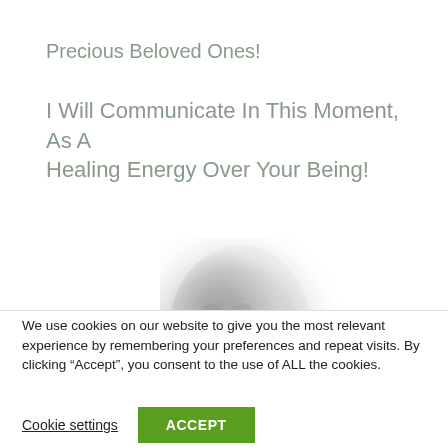Precious Beloved Ones!
I Will Communicate In This Moment, As A Healing Energy Over Your Being!
[Figure (photo): Faded grayscale image of an elderly person's face, shown from the forehead down to the chin, fading into a bright white haze on the right side.]
We use cookies on our website to give you the most relevant experience by remembering your preferences and repeat visits. By clicking “Accept”, you consent to the use of ALL the cookies.
Cookie settings   ACCEPT